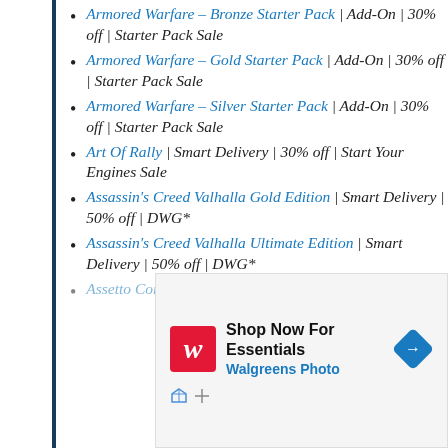Armored Warfare – Bronze Starter Pack | Add-On | 30% off | Starter Pack Sale
Armored Warfare – Gold Starter Pack | Add-On | 30% off | Starter Pack Sale
Armored Warfare – Silver Starter Pack | Add-On | 30% off | Starter Pack Sale
Art Of Rally | Smart Delivery | 30% off | Start Your Engines Sale
Assassin's Creed Valhalla Gold Edition | Smart Delivery | 50% off | DWG*
Assassin's Creed Valhalla Ultimate Edition | Smart Delivery | 50% off | DWG*
Assetto Corsa | Xbox One, Xbox Series
[Figure (infographic): Walgreens advertisement banner: 'Shop Now For Essentials' with Walgreens Photo subtitle, red W logo, and navigation diamond icon.]